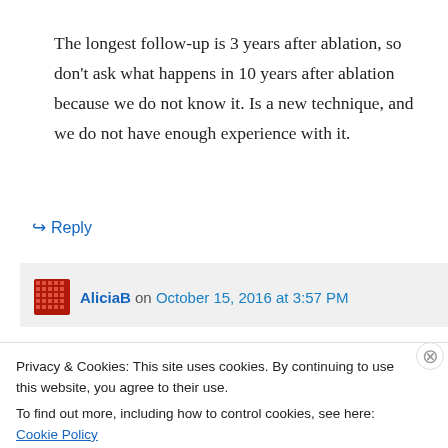The longest follow-up is 3 years after ablation, so don't ask what happens in 10 years after ablation because we do not know it. Is a new technique, and we do not have enough experience with it.
↳ Reply
AliciaB on October 15, 2016 at 3:57 PM
Privacy & Cookies: This site uses cookies. By continuing to use this website, you agree to their use.
To find out more, including how to control cookies, see here: Cookie Policy